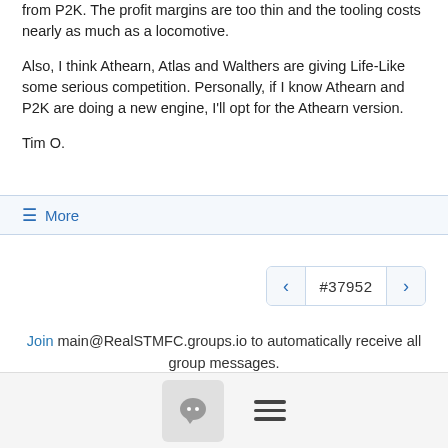from P2K. The profit margins are too thin and the tooling costs nearly as much as a locomotive.
Also, I think Athearn, Atlas and Walthers are giving Life-Like some serious competition. Personally, if I know Athearn and P2K are doing a new engine, I'll opt for the Athearn version.
Tim O.
≡ More
#37952
Join main@RealSTMFC.groups.io to automatically receive all group messages.